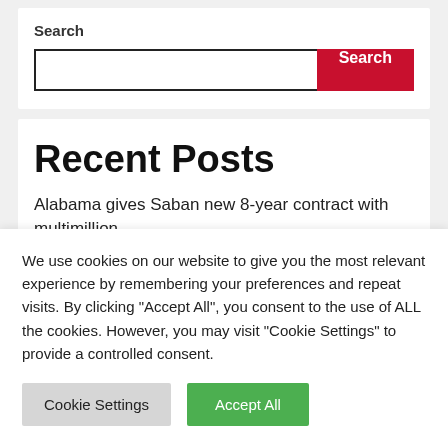Search
[Figure (screenshot): Search input box with red Search button]
Recent Posts
Alabama gives Saban new 8-year contract with multimillion dollar…
We use cookies on our website to give you the most relevant experience by remembering your preferences and repeat visits. By clicking "Accept All", you consent to the use of ALL the cookies. However, you may visit "Cookie Settings" to provide a controlled consent.
Cookie Settings | Accept All